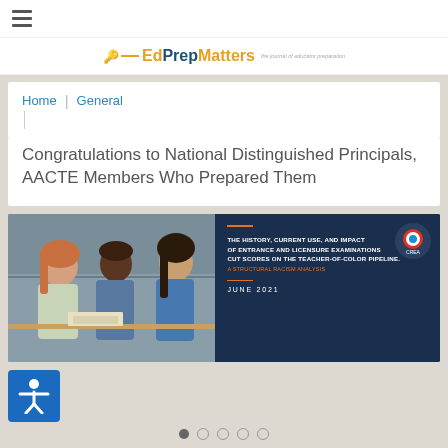≡
[Figure (logo): EdPrepMatters logo with key icon and tagline]
Home | General
Congratulations to National Distinguished Principals, AACTE Members Who Prepared Them
[Figure (photo): Banner image showing three students studying together on the left, and a report cover on the right: 'THE HISTORY, CURRENT USE, AND IMPACT OF ENTRANCE AND LICENSURE EXAMINATIONS CUT SCORES ON THE TEACHER-OF-COLOR PIPELINE. A STRUCTURAL RACISM ANALYSIS. JUNE 2021']
[Figure (other): Accessibility icon button (person with arms outstretched on blue background)]
● ○ ○ ○ ○